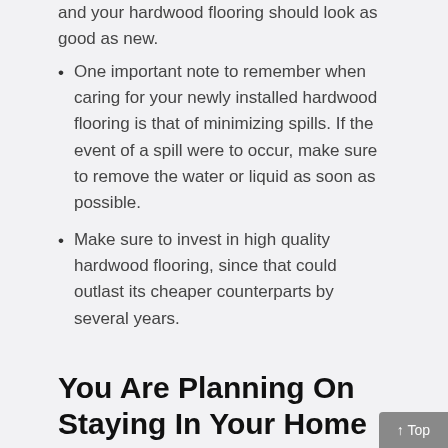One important note to remember when caring for your newly installed hardwood flooring is that of minimizing spills. If the event of a spill were to occur, make sure to remove the water or liquid as soon as possible.
Make sure to invest in high quality hardwood flooring, since that could outlast its cheaper counterparts by several years.
You Are Planning On Staying In Your Home For A While, Make it Comfortable and Make it Great
Most homeowners plan on staying in their home for some time. If they didn't, they would simply have purchased another sort of living situation, instead they chose to buy a house.